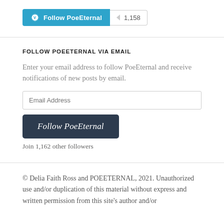[Figure (other): WordPress Follow PoeEternal button with follower count badge showing 1,158]
FOLLOW POEETERNAL VIA EMAIL
Enter your email address to follow PoeEternal and receive notifications of new posts by email.
Email Address (input field)
[Figure (other): Follow PoeEternal dark button]
Join 1,162 other followers
© Delia Faith Ross and POEETERNAL, 2021. Unauthorized use and/or duplication of this material without express and written permission from this site's author and/or